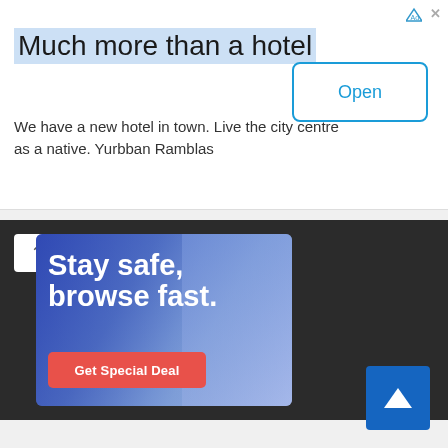[Figure (screenshot): Top advertisement banner for Yurbban Ramblas hotel with title 'Much more than a hotel', descriptive text, and an 'Open' button]
Much more than a hotel
We have a new hotel in town. Live the city centre as a native. Yurbban Ramblas
[Figure (screenshot): VPN advertisement banner with dark background showing 'Stay safe, browse fast.' text with a 'Get Special Deal' button, and a collapse/interruptions control bar]
Stay safe, browse fast.
Get Special Deal
[Figure (other): Blue scroll-to-top button with upward arrow chevron in the bottom right corner]